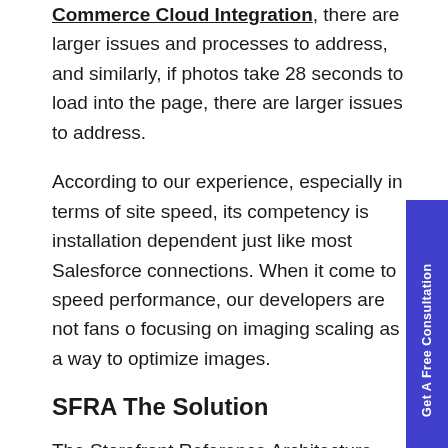Commerce Cloud Integration, there are larger issues and processes to address, and similarly, if photos take 28 seconds to load into the page, there are larger issues to address.
According to our experience, especially in terms of site speed, its competency is installation dependent just like most Salesforce connections. When it comes to speed performance, our developers are not fans of focusing on imaging scaling as a way to optimize images.
SFRA The Solution
The Storefront Reference Architecture -SFRA, is a user experience framework developed by Salesforce